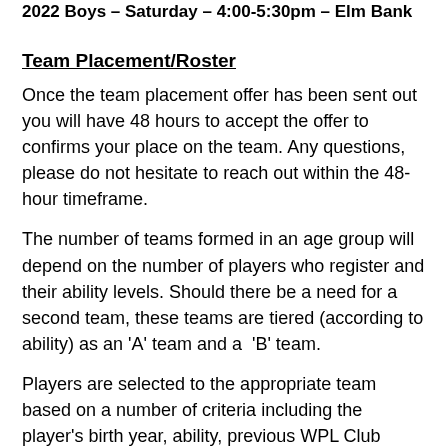2022 Boys – Saturday – 4:00-5:30pm – Elm Bank
Team Placement/Roster
Once the team placement offer has been sent out you will have 48 hours to accept the offer to confirms your place on the team. Any questions, please do not hesitate to reach out within the 48-hour timeframe.
The number of teams formed in an age group will depend on the number of players who register and their ability levels. Should there be a need for a second team, these teams are tiered (according to ability) as an 'A' team and a 'B' team.
Players are selected to the appropriate team based on a number of criteria including the player's birth year, ability, previous WPL Club coach's feedback and their assessment performance.
Practice Schedule/Game Schedule
The Fall season begins in early September (optional pre-season training to begin in late August) and goes until mid-November. Every WPL Club practice will be held on Monday and Wednesday evenings this Fall and Spring season across the town of